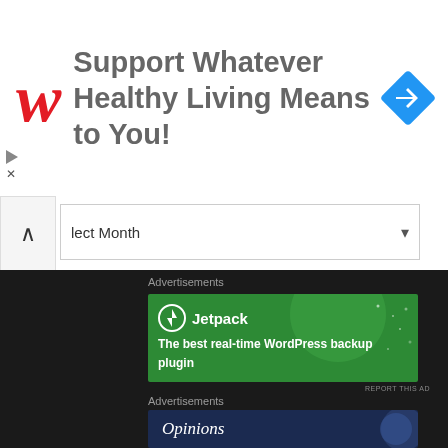[Figure (infographic): Walgreens advertisement banner: red italic W logo, text 'Support Whatever Healthy Living Means to You!', blue diamond navigation icon on the right]
lect Month
[Figure (infographic): Jetpack advertisement: green background with circle design, Jetpack logo, text 'The best real-time WordPress backup plugin', white button 'Back up your site']
Advertisements
REPORT THIS AD
Advertisements
[Figure (infographic): Opinions section advertisement strip with dark blue background and circular graphic on right]